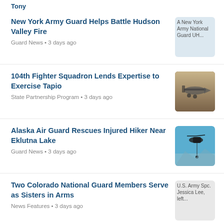Tony
New York Army Guard Helps Battle Hudson Valley Fire
Guard News • 3 days ago
104th Fighter Squadron Lends Expertise to Exercise Tapio
State Partnership Program • 3 days ago
Alaska Air Guard Rescues Injured Hiker Near Eklutna Lake
Guard News • 3 days ago
Two Colorado National Guard Members Serve as Sisters in Arms
News Features • 3 days ago